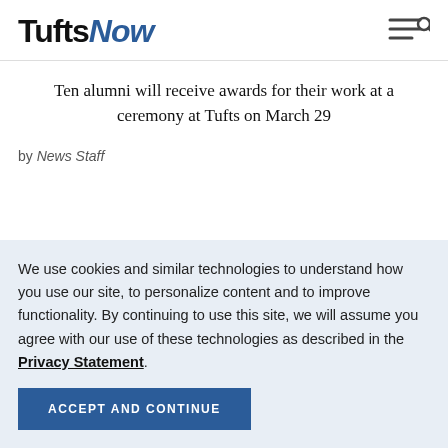Tufts Now
Ten alumni will receive awards for their work at a ceremony at Tufts on March 29
by News Staff
We use cookies and similar technologies to understand how you use our site, to personalize content and to improve functionality. By continuing to use this site, we will assume you agree with our use of these technologies as described in the Privacy Statement.
ACCEPT AND CONTINUE